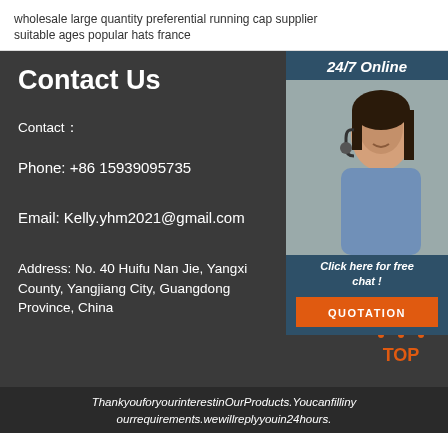wholesale large quantity preferential running cap supplier
suitable ages popular hats france
Contact Us
Contact：
Phone: +86 15939095735
Email: Kelly.yhm2021@gmail.com
Address: No. 40 Huifu Nan Jie, Yangxi County, Yangjiang City, Guangdong Province, China
[Figure (photo): Customer service representative wearing headset, smiling, with 24/7 Online label and Click here for free chat text and QUOTATION button]
ThankyouforyourinterestinOurProducts.Youcanfillinyourrequirements.wewillreplyyouin24hours.